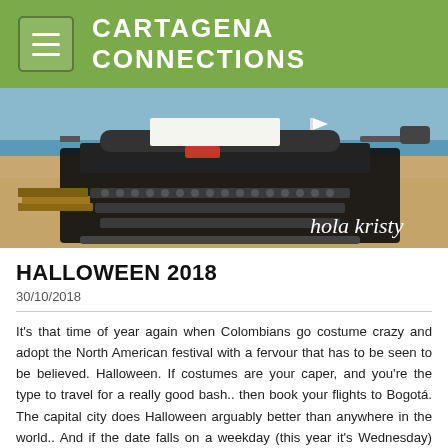CARTAGENA CONNECTIONS
[Figure (photo): A vintage black typewriter sitting on a sandy beach with the ocean in the background, with the text 'hola kristy' overlaid in white script in the lower right corner.]
HALLOWEEN 2018
30/10/2018
It's that time of year again when Colombians go costume crazy and adopt the North American festival with a fervour that has to be seen to be believed. Halloween. If costumes are your caper, and you're the type to travel for a really good bash.. then book your flights to Bogotá. The capital city does Halloween arguably better than anywhere in the world.. And if the date falls on a weekday (this year it's Wednesday) even better - it means parties the weekend before, after and on the day itself. Sorry liver. Where to go? Guaranteed mayhem awaits at the